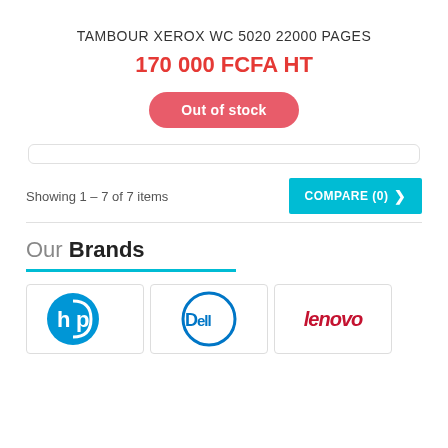TAMBOUR XEROX WC 5020 22000 PAGES
170 000 FCFA HT
Out of stock
Showing 1 – 7 of 7 items
COMPARE (0) >
Our Brands
Leave us a message
[Figure (logo): HP logo in blue]
[Figure (logo): Dell logo in blue circle]
[Figure (logo): Lenovo logo in dark red italic text]